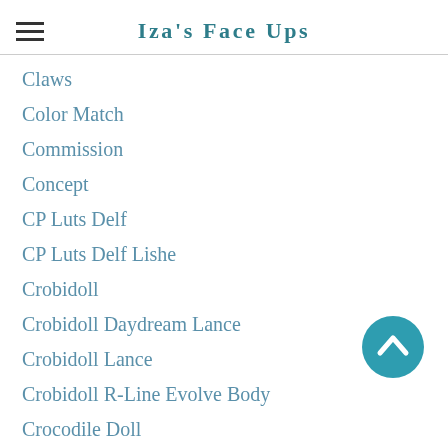Iza's Face Ups
Claws
Color Match
Commission
Concept
CP Luts Delf
CP Luts Delf Lishe
Crobidoll
Crobidoll Daydream Lance
Crobidoll Lance
Crobidoll R-Line Evolve Body
Crocodile Doll
Custom
Customization
Daisy Dayes
Dark Elf Soo
Daydream BJD
Daydream Grace